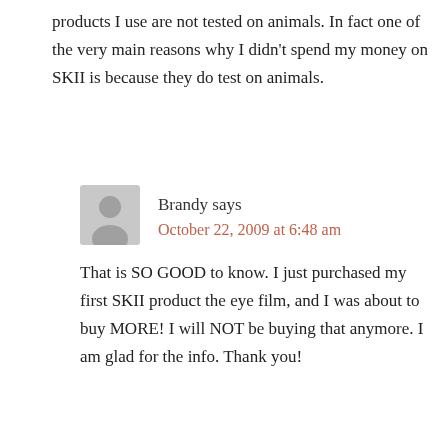products I use are not tested on animals. In fact one of the very main reasons why I didn't spend my money on SKII is because they do test on animals.
Brandy says
October 22, 2009 at 6:48 am
That is SO GOOD to know. I just purchased my first SKII product the eye film, and I was about to buy MORE! I will NOT be buying that anymore. I am glad for the info. Thank you!